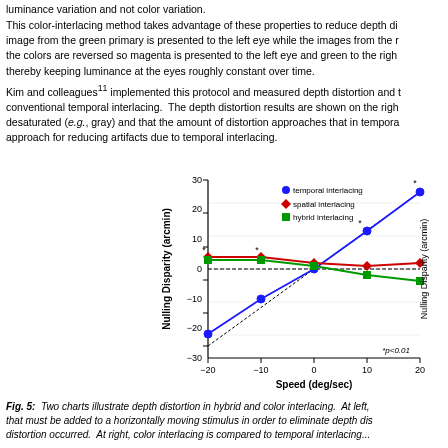luminance variation and not color variation.
This color-interlacing method takes advantage of these properties to reduce depth di... image from the green primary is presented to the left eye while the images from the m... the colors are reversed so magenta is presented to the left eye and green to the righ... thereby keeping luminance at the eyes roughly constant over time.
Kim and colleagues^11 implemented this protocol and measured depth distortion and t... conventional temporal interlacing. The depth distortion results are shown on the righ... desaturated (e.g., gray) and that the amount of distortion approaches that in tempora... approach for reducing artifacts due to temporal interlacing.
[Figure (line-chart): ]
Fig. 5: Two charts illustrate depth distortion in hybrid and color interlacing. At left, that must be added to a horizontally moving stimulus in order to eliminate depth dis... distortion occurred. At right, color interlacing is compared to temporal interlacing...